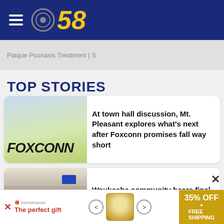CBS 58
Plaque Psoriasis Treatment | S
TOP STORIES
[Figure (photo): Foxconn logo sign photo — green/yellow backlit signage with FOXCONN text]
At town hall discussion, Mt. Pleasant explores what's next after Foxconn promises fall way short
[Figure (photo): Crowd seated in a meeting room or auditorium, with a TV screen visible at the back]
Waukesha community hears final proposals for permanent parade
The perfect gift
35% OFF + FREE SHIPPING